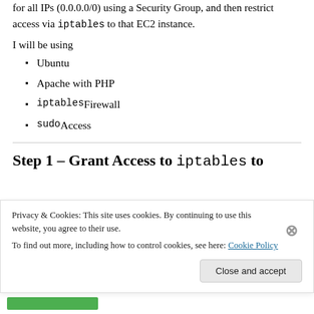for all IPs (0.0.0.0/0) using a Security Group, and then restrict access via iptables to that EC2 instance.
I will be using
Ubuntu
Apache with PHP
iptables Firewall
sudo Access
Step 1 – Grant Access to iptables to
Privacy & Cookies: This site uses cookies. By continuing to use this website, you agree to their use. To find out more, including how to control cookies, see here: Cookie Policy